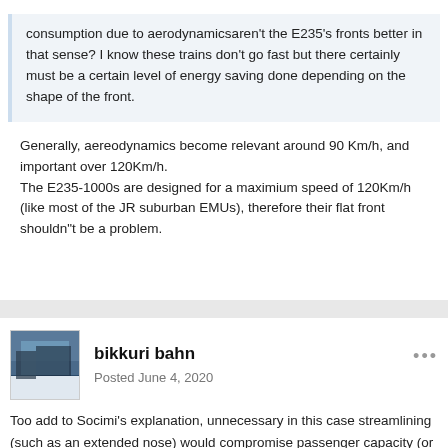consumption due to aerodynamicsaren't the E235's fronts better in that sense? I know these trains don't go fast but there certainly must be a certain level of energy saving done depending on the shape of the front.
Generally, aereodynamics become relevant around 90 Km/h, and important over 120Km/h.
The E235-1000s are designed for a maximium speed of 120Km/h (like most of the JR suburban EMUs), therefore their flat front shouldn"t be a problem.
bikkuri bahn
Posted June 4, 2020
Too add to Socimi's explanation, unnecessary in this case streamlining (such as an extended nose) would compromise passenger capacity (or room in the driver's cabin), given that stock is built to a standard 20m length. As the Yokosuka Line is one of the most impacted lines in the JR East network in terms of